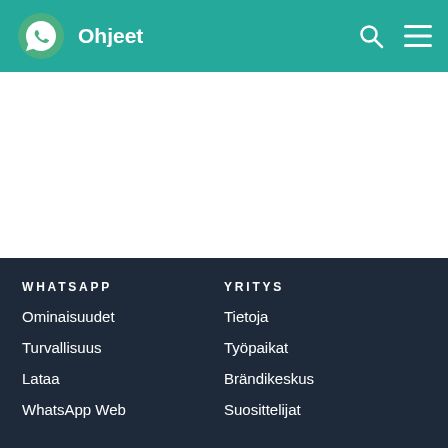Ohjeet
WHATSAPP
Ominaisuudet
Turvallisuus
Lataa
WhatsApp Web
YRITYS
Tietoja
Työpaikat
Brändikeskus
Suosittelijat